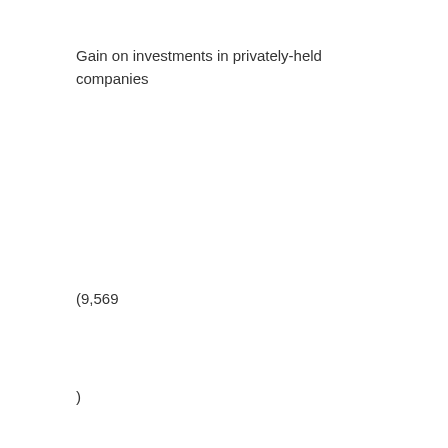Gain on investments in privately-held companies
(9,569
)
—
Impairment charges
3,045